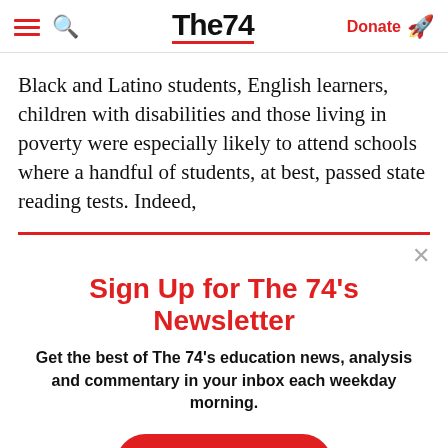The74 | Donate
Black and Latino students, English learners, children with disabilities and those living in poverty were especially likely to attend schools where a handful of students, at best, passed state reading tests. Indeed,
Sign Up for The 74's Newsletter
Get the best of The 74's education news, analysis and commentary in your inbox each weekday morning.
Subscribe